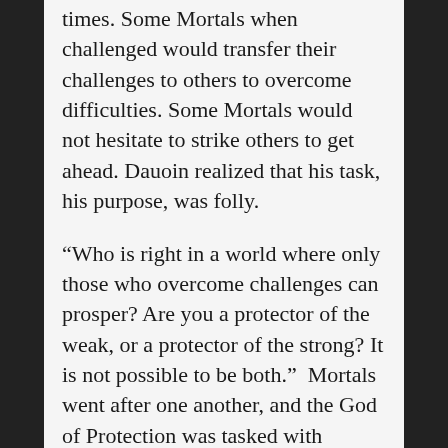times. Some Mortals when challenged would transfer their challenges to others to overcome difficulties. Some Mortals would not hesitate to strike others to get ahead. Dauoin realized that his task, his purpose, was folly.
“Who is right in a world where only those who overcome challenges can prosper? Are you a protector of the weak, or a protector of the strong? It is not possible to be both.”  Mortals went after one another, and the God of Protection was tasked with endless decisions.
It always came down to the greater good to his mission, the